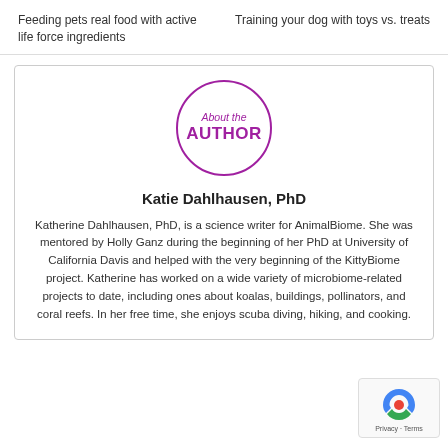Feeding pets real food with active life force ingredients
Training your dog with toys vs. treats
[Figure (illustration): Circle badge with text 'About the AUTHOR' in purple]
Katie Dahlhausen, PhD
Katherine Dahlhausen, PhD, is a science writer for AnimalBiome. She was mentored by Holly Ganz during the beginning of her PhD at University of California Davis and helped with the very beginning of the KittyBiome project. Katherine has worked on a wide variety of microbiome-related projects to date, including ones about koalas, buildings, pollinators, and coral reefs. In her free time, she enjoys scuba diving, hiking, and cooking.